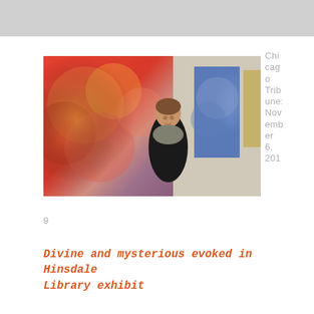[Figure (photo): A woman with short brown hair wearing a black jacket and gray patterned scarf stands smiling in front of a large abstract painting with orange and red hues. Behind her along the wall are additional abstract paintings in blue tones, displayed in a library or gallery corridor.]
Chicago Tribune: November 6, 2019
Divine and mysterious evoked in Hinsdale Library exhibit